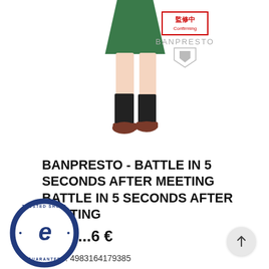[Figure (photo): Partial view of an anime figure wearing a green skirt with black knee socks and brown shoes, with a red 監修中 (Confirming) stamp and BANPRESTO logo/watermark visible]
BANPRESTO - BATTLE IN 5 SECONDS AFTER MEETING BATTLE IN 5 SECONDS AFTER MEETING
...6 €
ean13: 4983164179385
[Figure (logo): Trusted Shops guarantee badge — circular badge with 'TRUSTED SHOPS' text, stylized 'e' logo, 'GUARANTEE' text, 5 gold stars, and rating 4,73]
4,73